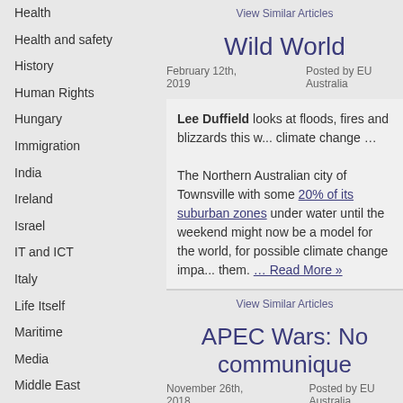Health
Health and safety
History
Human Rights
Hungary
Immigration
India
Ireland
Israel
IT and ICT
Italy
Life Itself
Maritime
Media
Middle East
Military-NATO
Natural Disasters
Netherlands
New Zealand
Norway
Other Industry
View Similar Articles
Wild World
February 12th, 2019   Posted by EU Australia
Lee Duffield looks at floods, fires and blizzards this w... climate change ...
The Northern Australian city of Townsville with some 20% of its suburban zones under water until the weekend might now be a model for the world, for possible climate change impa... them. … Read More »
View Similar Articles
APEC Wars: No communique
November 26th, 2018   Posted by EU Australia
People of the Pacific